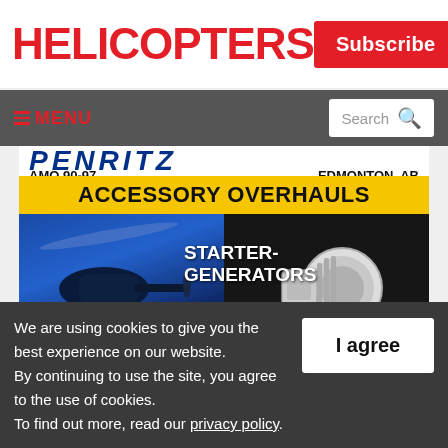HELICOPTERS
Subscribe
≡ MENU
Search
[Figure (illustration): Advertisement for Penrith aircraft services showing AMO 90-97 Edmonton AB, Accessory Overhauls, Starter-Generators, with a helicopter image on the left and a generator component on the right, with yellow banner text 'Overhauls By the Book!']
We are using cookies to give you the best experience on our website. By continuing to use the site, you agree to the use of cookies. To find out more, read our privacy policy.
I agree